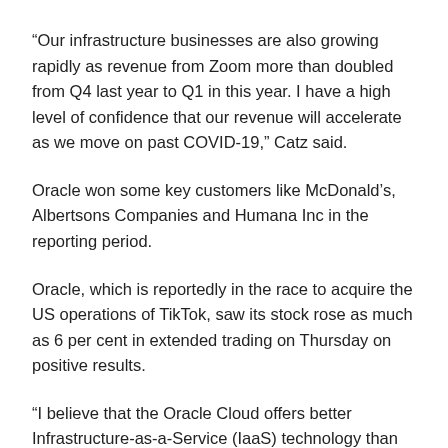“Our infrastructure businesses are also growing rapidly as revenue from Zoom more than doubled from Q4 last year to Q1 in this year. I have a high level of confidence that our revenue will accelerate as we move on past COVID-19,” Catz said.
Oracle won some key customers like McDonald’s, Albertsons Companies and Humana Inc in the reporting period.
Oracle, which is reportedly in the race to acquire the US operations of TikTok, saw its stock rose as much as 6 per cent in extended trading on Thursday on positive results.
“I believe that the Oracle Cloud offers better Infrastructure-as-a-Service (IaaS) technology than any other cloud vendor,” said Larry Ellison, Oracle Chairman and CTO.